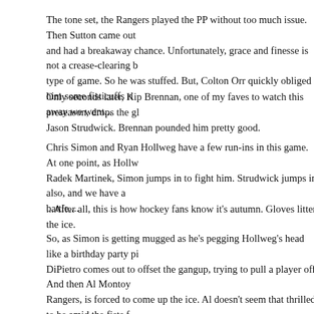The tone set, the Rangers played the PP without too much issue. Then Sutton came out and had a breakaway chance. Unfortunately, grace and finesse is not a crease-clearing b type of game. So he was stuffed. But, Colton Orr quickly obliged him some fisticuffs ri away we went...
Only seconds later, Kip Brennan, one of my faves to watch this preseason, drops the gl Jason Strudwick. Brennan pounded him pretty good.
Chris Simon and Ryan Hollweg have a few run-ins in this game. At one point, as Hollw Radek Martinek, Simon jumps in to fight him. Strudwick jumps in also, and we have a battle....
...After all, this is how hockey fans know it's autumn. Gloves litter the ice.
So, as Simon is getting mugged as he's pegging Hollweg's head like a birthday party pi DiPietro comes out to offset the gangup, trying to pull a player off. And then Al Montoy Rangers, is forced to come up the ice. Al doesn't seem that thrilled to be amid the fists f staring at Rick who is doing his Good Will Hunting schoolyard impression: "How you l apples!"
The line of Comrie - Guerin - Feds created all the goals of the game. As the Isles were d completely losing composure, they were able to capitalize on penalties and eventually ti All three getting the goals, and Berard being a huge factor on defense to help feed the p
As Comrie netted the gamewinner in OT, thanks to another powerplay as Shanahan